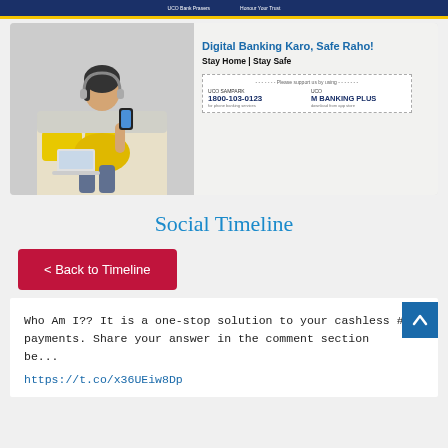UCO Bank | Honour Your Trust
[Figure (photo): UCO Bank banner showing a woman in yellow sitting on a sofa with a phone and laptop. Text reads: Digital Banking Karo, Safe Raho! Stay Home | Stay Safe. Please support us by using UCO SAMPARK 1800-103-0123 for phone banking services and UCO M BANKING PLUS download from app store.]
Social Timeline
< Back to Timeline
Who Am I?? It is a one-stop solution to your cashless # payments. Share your answer in the comment section be...
https://t.co/x36UEiw8Dp